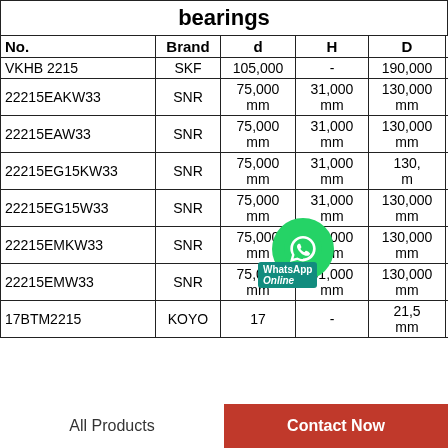bearings
| No. | Brand | d | H | D | m |
| --- | --- | --- | --- | --- | --- |
| VKHB 2215 | SKF | 105,000 | - | 190,000 | - |
| 22215EAKW33 | SNR | 75,000 mm | 31,000 mm | 130,000 mm | - |
| 22215EAW33 | SNR | 75,000 mm | 31,000 mm | 130,000 mm | - |
| 22215EG15KW33 | SNR | 75,000 mm | 31,000 mm | 130,000 mm | - |
| 22215EG15W33 | SNR | 75,000 mm | 31,000 mm | 130,000 mm | - |
| 22215EMKW33 | SNR | 75,000 mm | 31,000 mm | 130,000 mm | - |
| 22215EMW33 | SNR | 75,000 mm | 31,000 mm | 130,000 mm | - |
| 17BTM2215 | KOYO | 17 | - | 21,5 mm | - |
All Products   Contact Now